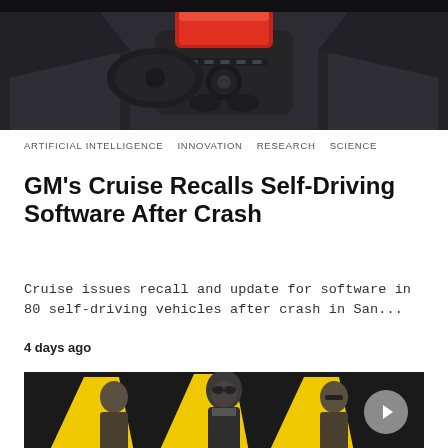[Figure (photo): Car interior dashboard view showing steering wheel area, center console with red display, black leather seats visible]
ARTIFICIAL INTELLIGENCE   INNOVATION   RESEARCH   SCIENCE
GM's Cruise Recalls Self-Driving Software After Crash
Cruise issues recall and update for software in 80 self-driving vehicles after crash in San...
4 days ago
[Figure (photo): Video game promotional image showing armed military soldiers in tactical gear against yellow geometric background, with a circular play button overlay]